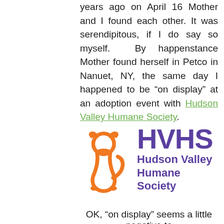years ago on April 16 Mother and I found each other. It was serendipitous, if I do say so myself.  By happenstance Mother found herself in Petco in Nanuet, NY, the same day I happened to be “on display” at an adoption event with Hudson Valley Humane Society.
[Figure (logo): HVHS Hudson Valley Humane Society logo with orange dog/cat outline illustration and purple text]
OK, “on display” seems a little negative to